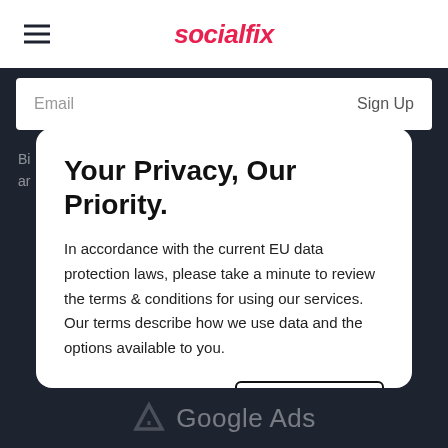socialfix
[Figure (screenshot): Email signup bar with 'Email' placeholder and 'Sign Up' button on white background]
Your Privacy, Our Priority.
In accordance with the current EU data protection laws, please take a minute to review the terms & conditions for using our services. Our terms describe how we use data and the options available to you.
Read more
Accept
[Figure (logo): Google Ads logo and text at bottom of page]